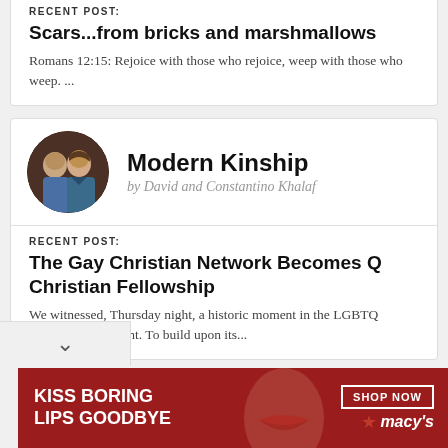RECENT POST:
Scars...from bricks and marshmallows
Romans 12:15: Rejoice with those who rejoice, weep with those who weep. ...
[Figure (photo): Circular profile photo of two men]
Modern Kinship
by David and Constantino Khalaf
RECENT POST:
The Gay Christian Network Becomes Q Christian Fellowship
We witnessed, Thursday night, a historic moment in the LGBTQ Christian movement. To build upon its...
[Figure (infographic): Macy's advertisement banner: KISS BORING LIPS GOODBYE with SHOP NOW button and Macy's star logo]